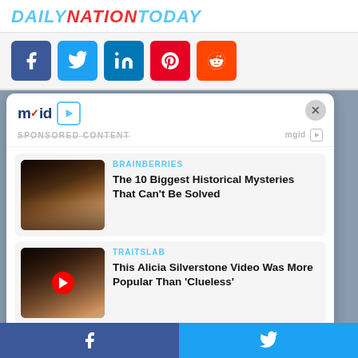DAILYNATIONTODAY
[Figure (screenshot): Social share buttons: Facebook, Twitter, LinkedIn, Pinterest, Reddit]
[Figure (screenshot): Mgid sponsored content panel with close button, two article cards: (1) BRAINBERRIES - The 10 Biggest Historical Mysteries That Can't Be Solved; (2) TRAITSLAB - This Alicia Silverstone Video Was More Popular Than 'Clueless']
Facebook | Twitter share bar at bottom